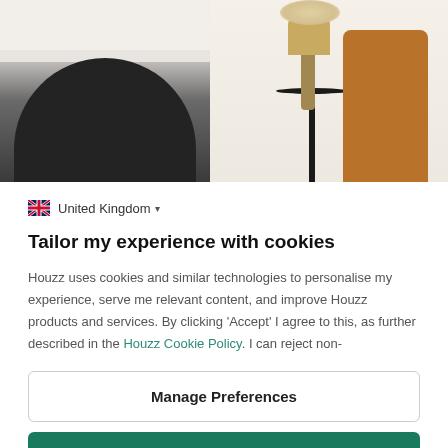[Figure (photo): Interior room photo showing a white fireplace mantel with dark arch opening on the left, and on the right a round side table with a vase of pampas grass and a brown velvet chair against a neutral wall]
United Kingdom ▾
Tailor my experience with cookies
Houzz uses cookies and similar technologies to personalise my experience, serve me relevant content, and improve Houzz products and services. By clicking 'Accept' I agree to this, as further described in the Houzz Cookie Policy. I can reject non-
Manage Preferences
Accept